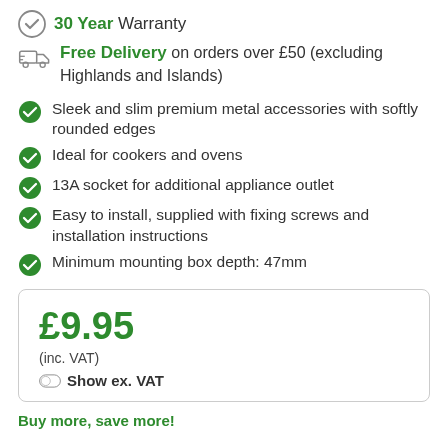30 Year Warranty
Free Delivery on orders over £50 (excluding Highlands and Islands)
Sleek and slim premium metal accessories with softly rounded edges
Ideal for cookers and ovens
13A socket for additional appliance outlet
Easy to install, supplied with fixing screws and installation instructions
Minimum mounting box depth: 47mm
£9.95 (inc. VAT) Show ex. VAT
Buy more, save more!